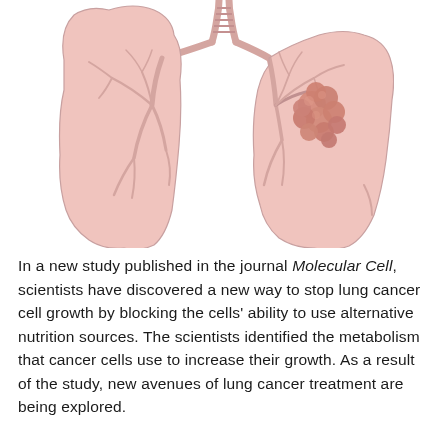[Figure (illustration): Medical illustration of human lungs. The right lung (viewer's left) appears healthy in light pink with visible bronchial branching. The left lung (viewer's right) shows a tumor mass — a cluster of dark pink/salmon nodules — attached near the bronchus in the mid-lung region. A trachea and bronchi are visible at the top center.]
In a new study published in the journal Molecular Cell, scientists have discovered a new way to stop lung cancer cell growth by blocking the cells' ability to use alternative nutrition sources. The scientists identified the metabolism that cancer cells use to increase their growth. As a result of the study, new avenues of lung cancer treatment are being explored.